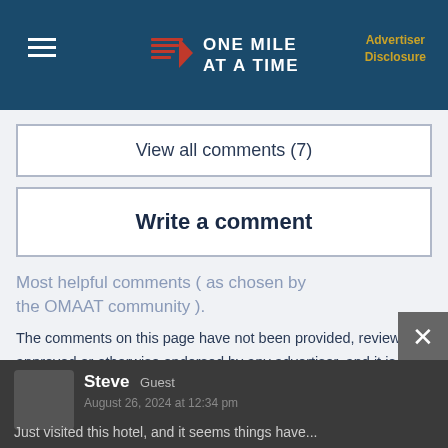ONE MILE AT A TIME | Advertiser Disclosure
View all comments (7)
Write a comment
Most helpful comments ( as chosen by the OMAAT community ).
The comments on this page have not been provided, reviewed, approved or otherwise endorsed by any advertiser, and it is not an advertiser's responsibility to ensure posts and/or questions are answered.
Steve Guest